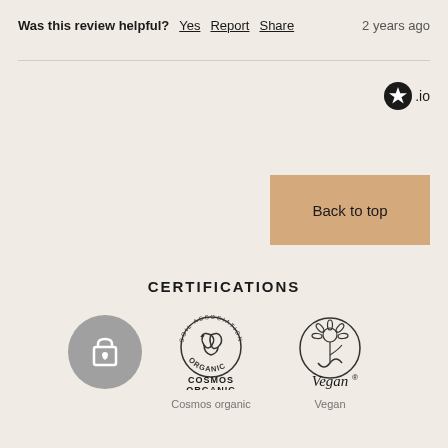Was this review helpful? Yes Report Share — 2 years ago
[Figure (logo): Trustpilot star logo with .io text]
Back to top
CERTIFICATIONS
[Figure (logo): Shopping bag with heart icon in grey circle]
[Figure (logo): Soil Association Organic / Cosmos Organic certification logo]
Cosmos organic
[Figure (logo): Vegan certification logo with sunflower]
Vegan